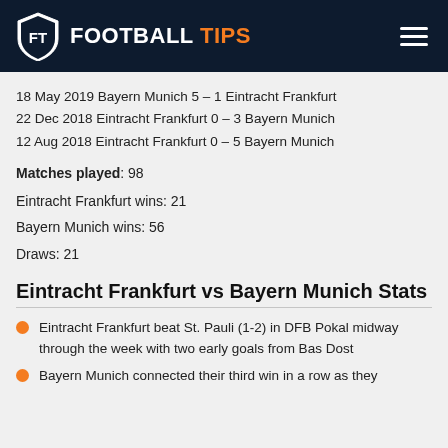FOOTBALL TIPS
18 May 2019 Bayern Munich 5 – 1 Eintracht Frankfurt
22 Dec 2018 Eintracht Frankfurt 0 – 3 Bayern Munich
12 Aug 2018 Eintracht Frankfurt 0 – 5 Bayern Munich
Matches played: 98
Eintracht Frankfurt wins: 21
Bayern Munich wins: 56
Draws: 21
Eintracht Frankfurt vs Bayern Munich Stats
Eintracht Frankfurt beat St. Pauli (1-2) in DFB Pokal midway through the week with two early goals from Bas Dost
Bayern Munich connected their third win in a row as they